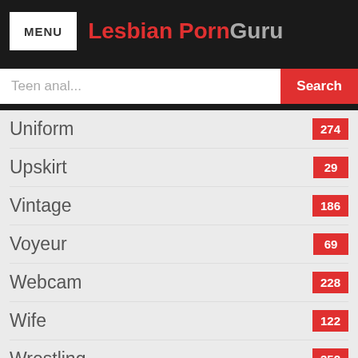MENU | Lesbian PornGuru
Teen anal... Search
Uniform 274
Upskirt 29
Vintage 186
Voyeur 69
Webcam 228
Wife 122
Wrestling 352
Top Sites
[Figure (screenshot): Advertisement banner showing large white text characters on black background with close/dismiss icons]